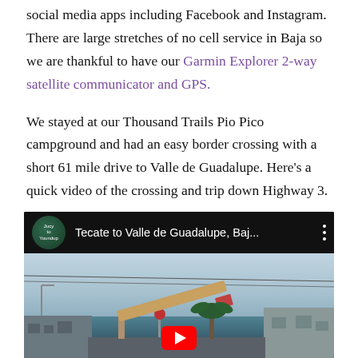social media apps including Facebook and Instagram. There are large stretches of no cell service in Baja so we are thankful to have our Garmin Explorer 2-way satellite communicator and GPS.
We stayed at our Thousand Trails Pio Pico campground and had an easy border crossing with a short 61 mile drive to Valle de Guadalupe. Here's a quick video of the crossing and trip down Highway 3.
[Figure (screenshot): YouTube video embed showing 'Tecate to Valle de Guadalupe, Baj...' with a thumbnail of a border crossing scene with a barrier arm, palm tree, and buildings.]